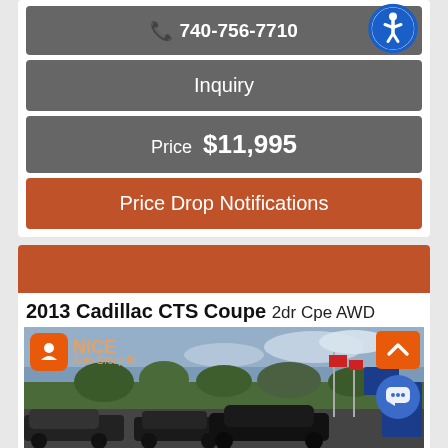📞 740-756-7710
Inquiry
Price  $11,995
Price Drop Notifications
2013 Cadillac CTS Coupe 2dr Cpe AWD
[Figure (photo): Car dealership lot with multiple vehicles, NICE Auto Group LLC signage and logo visible, flags and sign poles in background, cloudy sky. Overlaid with chat button and scroll-to-top button.]